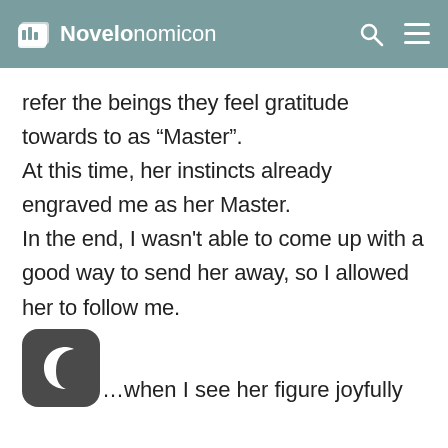Novelonomicon
refer the beings they feel gratitude towards to as “Master”. At this time, her instincts already engraved me as her Master. In the end, I wasn't able to come up with a good way to send her away, so I allowed her to follow me.
[Figure (illustration): Dark mode / night mode toggle button icon — a crescent moon symbol on a dark rounded-square background]
…when I see her figure joyfully